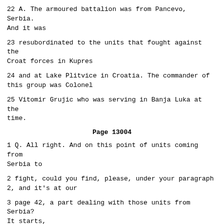22 A. The armoured battalion was from Pancevo, Serbia. And it was
23 resubordinated to the units that fought against the Croat forces in Kupres
24 and at Lake Plitvice in Croatia. The commander of this group was Colonel
25 Vitomir Grujic who was serving in Banja Luka at the time.
Page 13004
1 Q. All right. And on this point of units coming from Serbia to
2 fight, could you find, please, under your paragraph 2, and it's at our
3 page 42, a part dealing with those units from Serbia? It starts,
4 "Reception of the units from Serbia."
5 A. Yes. I remember that. Yes. I've found it.
6 Q. We can see it talks about their lack of material and providing
7 them with equipment. To try and shorten this, was the